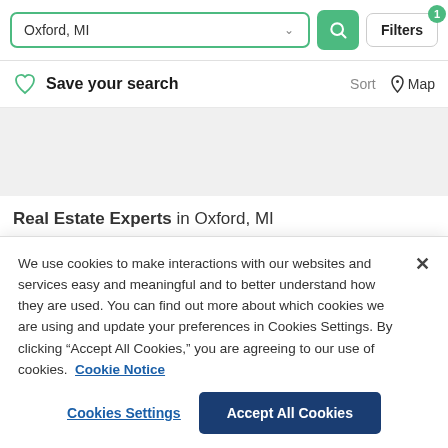[Figure (screenshot): Search bar with 'Oxford, MI' text input, green search button with magnifying glass icon, and Filters button with badge showing '1']
Save your search
Sort   Map
Real Estate Experts in Oxford, MI
We use cookies to make interactions with our websites and services easy and meaningful and to better understand how they are used. You can find out more about which cookies we are using and update your preferences in Cookies Settings. By clicking “Accept All Cookies,” you are agreeing to our use of cookies.  Cookie Notice
Cookies Settings
Accept All Cookies